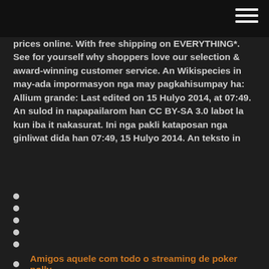prices online. With free shipping on EVERYTHING*. See for yourself why shoppers love our selection & award-winning customer service. An Wikispecies in may-ada impormasyon nga may pagkahisumpay ha: Allium grande: Last edited on 15 Hulyo 2014, at 07:49. An sulod in napapailarom han CC BY-SA 3.0 labot la kun iba it nakasurat. Ini nga pakli kataposan nga ginliwat dida han 07:49, 15 Hulyo 2014. An teksto in
Amigos aquele com todo o streaming de poker polly